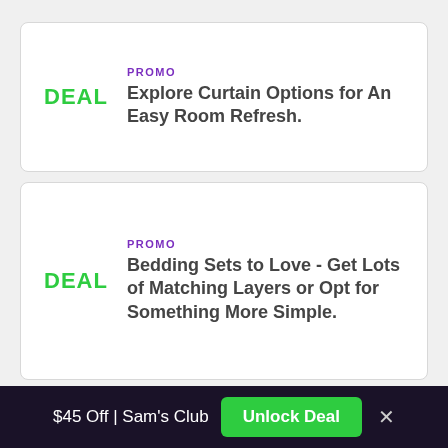PROMO
Explore Curtain Options for An Easy Room Refresh.
PROMO
Bedding Sets to Love - Get Lots of Matching Layers or Opt for Something More Simple.
PROMO
Bring Fall to Your Walls - Shop Classic Fall Artwork, Autumn Hues and More.
$45 Off | Sam's Club  Unlock Deal  ×